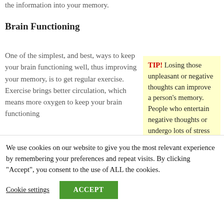the information into your memory.
Brain Functioning
One of the simplest, and best, ways to keep your brain functioning well, thus improving your memory, is to get regular exercise. Exercise brings better circulation, which means more oxygen to keep your brain functioning
TIP! Losing those unpleasant or negative thoughts can improve a person's memory. People who entertain negative thoughts or undergo lots of stress will
We use cookies on our website to give you the most relevant experience by remembering your preferences and repeat visits. By clicking “Accept”, you consent to the use of ALL the cookies.
Cookie settings
ACCEPT